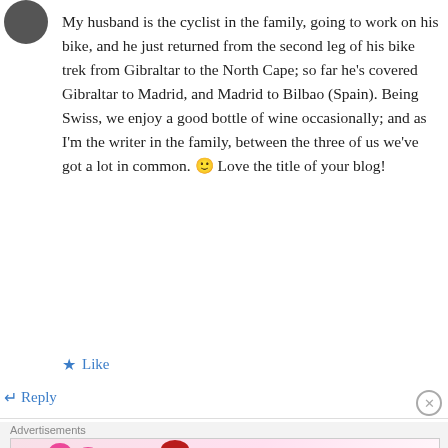[Figure (photo): Small circular avatar/profile photo thumbnail in the top-left corner]
My husband is the cyclist in the family, going to work on his bike, and he just returned from the second leg of his bike trek from Gibraltar to the North Cape; so far he's covered Gibraltar to Madrid, and Madrid to Bilbao (Spain). Being Swiss, we enjoy a good bottle of wine occasionally; and as I'm the writer in the family, between the three of us we've got a lot in common. 🙂 Love the title of your blog!
★ Like
↵ Reply
Advertisements
[Figure (photo): MAC Cosmetics advertisement banner showing colorful lipsticks and the MAC logo with a SHOP NOW button]